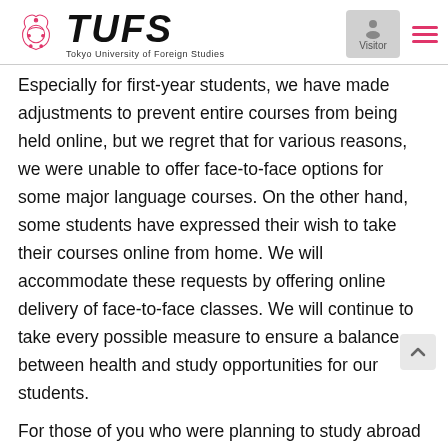[Figure (logo): TUFS (Tokyo University of Foreign Studies) logo with crest and hamburger menu, visitor icon on the right]
Especially for first-year students, we have made adjustments to prevent entire courses from being held online, but we regret that for various reasons, we were unable to offer face-to-face options for some major language courses. On the other hand, some students have expressed their wish to take their courses online from home. We will accommodate these requests by offering online delivery of face-to-face classes. We will continue to take every possible measure to ensure a balance between health and study opportunities for our students.
For those of you who were planning to study abroad this year, although the government has started to accept international students, the "risk level" for Japanese people